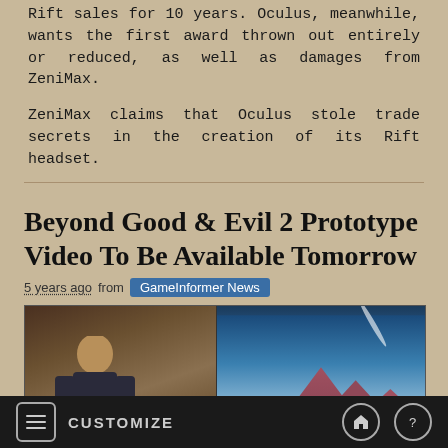Rift sales for 10 years. Oculus, meanwhile, wants the first award thrown out entirely or reduced, as well as damages from ZeniMax.
ZeniMax claims that Oculus stole trade secrets in the creation of its Rift headset.
Beyond Good & Evil 2 Prototype Video To Be Available Tomorrow
5 years ago from GameInformer News
[Figure (photo): Video thumbnail showing a man seated in front of artwork on the left, and a landscape scene on a TV screen on the right]
CUSTOMIZE